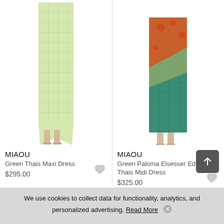[Figure (photo): Model wearing a light green/yellow checkered maxi dress with strappy heeled sandals, cropped at torso level]
MIAOU
Green Thais Maxi Dress
$295.00
[Figure (photo): Model wearing a green/teal patterned midi dress with orange floral print accents, cropped at torso level]
MIAOU
Green Paloma Elsesser Edition Thais Midi Dress
$325.00
[Figure (photo): Partial view of model's head/hair at bottom left]
[Figure (photo): Partial view of model's head/hair at bottom right]
We use cookies to collect data for functionality, analytics, and personalized advertising. Read More